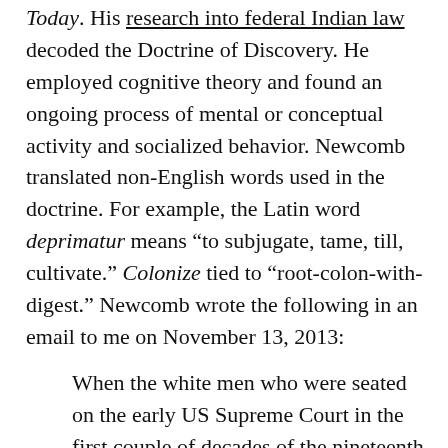Today. His research into federal Indian law decoded the Doctrine of Discovery. He employed cognitive theory and found an ongoing process of mental or conceptual activity and socialized behavior. Newcomb translated non-English words used in the doctrine. For example, the Latin word deprimatur means “to subjugate, tame, till, cultivate.” Colonize tied to “root-colon-with-digest.” Newcomb wrote the following in an email to me on November 13, 2013:
When the white men who were seated on the early US Supreme Court in the first couple of decades of the nineteenth century began to create ideas about American Indians, they turned to the already existing patterns of thought that had been used by Christian monarchs and popes in ancient times to think about (categorize) non-Christians. The ideas, arguments, and decisions reached by the Supreme